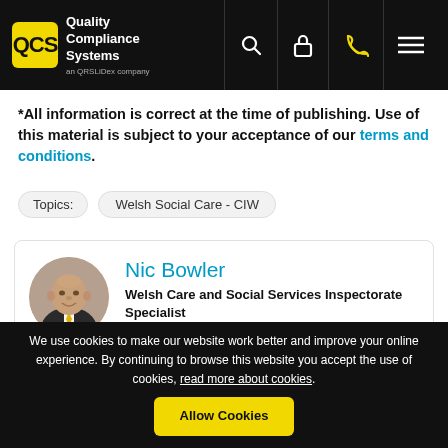QCS Quality Compliance Systems
*All information is correct at the time of publishing. Use of this material is subject to your acceptance of our terms and conditions.
Topics: Welsh Social Care - CIW
Nic Bowler
Welsh Care and Social Services Inspectorate Specialist
Dr Nicholas Bowler is a researcher and consultant to government-level [Welsh Government Review of Secure Services,
We use cookies to make our website work better and improve your online experience. By continuing to browse this website you accept the use of cookies, read more about cookies.